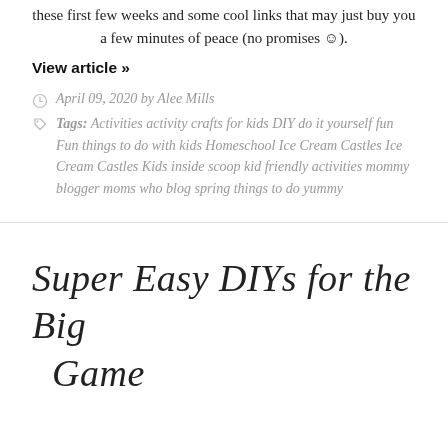these first few weeks and some cool links that may just buy you a few minutes of peace (no promises 😊).
View article »
April 09, 2020 by Alee Mills
Tags: Activities activity crafts for kids DIY do it yourself fun Fun things to do with kids Homeschool Ice Cream Castles Ice Cream Castles Kids inside scoop kid friendly activities mommy blogger moms who blog spring things to do yummy
Super Easy DIYs for the Big Game